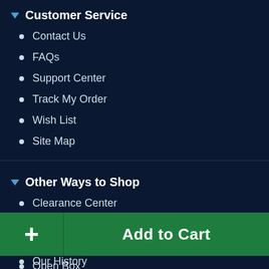Customer Service
Contact Us
FAQs
Support Center
Track My Order
Wish List
Site Map
Other Ways to Shop
Clearance Center
Rebates
On Sale
Open Box
+ Add to Cart
Our History